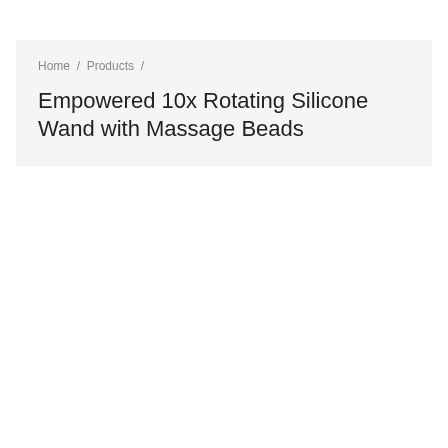Home / Products /
Empowered 10x Rotating Silicone Wand with Massage Beads